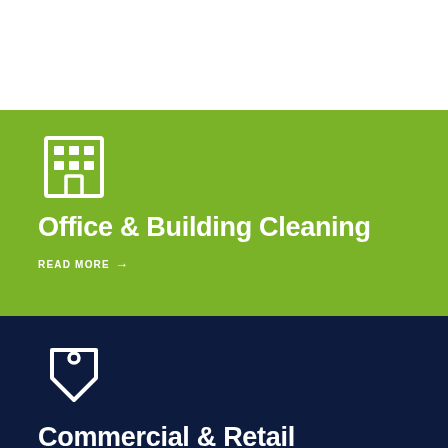[Figure (illustration): White section at top of page]
[Figure (illustration): Green card section with white office building icon, 'Office & Building Cleaning' heading, and 'READ MORE →' link]
[Figure (illustration): Navy card section with white price tag icon and 'Commercial & Retail Cleaning' heading (partially visible)]